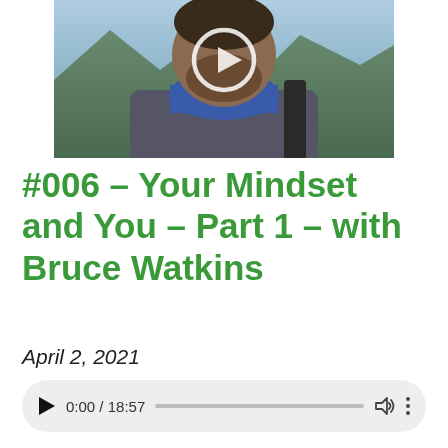[Figure (photo): Photo of a man wearing a blue neck gaiter/buff outdoors in a mountainous setting with a backpack, top portion of face obscured by a play button overlay circle]
#006 – Your Mindset and You – Part 1 – with Bruce Watkins
April 2, 2021
[Figure (other): Audio player UI element showing play button, time 0:00 / 18:57, progress bar, volume icon, and more options icon]